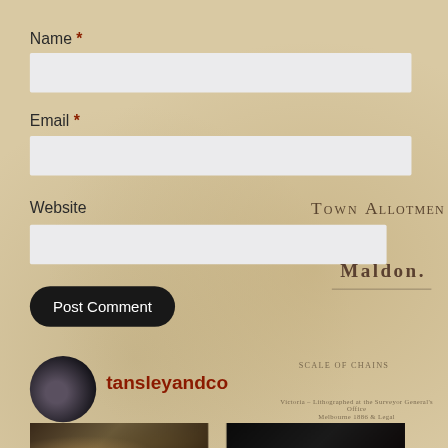Name *
Email *
Website
TOWN   ALLOTME
MALDON.
Post Comment
[Figure (photo): Circular avatar photo of a dark building/house at night]
tansleyandco
[Figure (photo): Two thumbnail photos at the bottom of the page]
SCALE OF CHAINS
VICTORIA - LITHOGRAPHED AT THE SURVEYOR GENERAL'S OFFICE MELBOURNE 1886